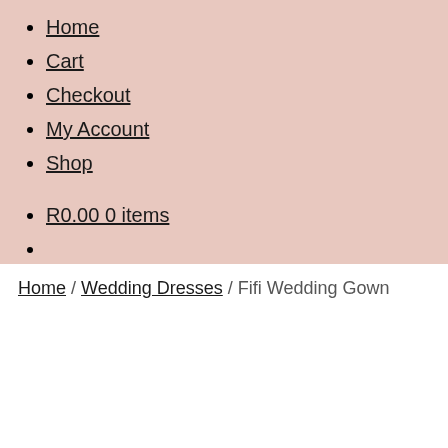Home
Cart
Checkout
My Account
Shop
R0.00 0 items
Home / Wedding Dresses / Fifi Wedding Gown